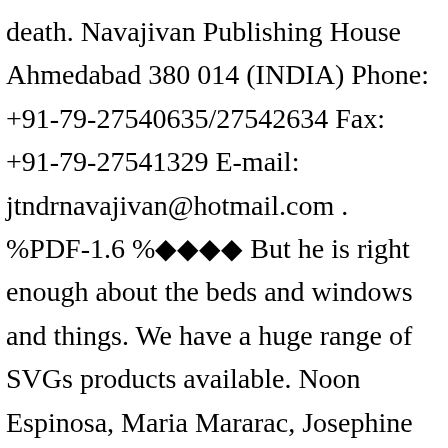death. Navajivan Publishing House Ahmedabad 380 014 (INDIA) Phone: +91-79-27540635/27542634 Fax: +91-79-27541329 E-mail: jtndrnavajivan@hotmail.com . %PDF-1.6 %◆◆◆◆ But he is right enough about the beds and windows and things. We have a huge range of SVGs products available. Noon Espinosa, Maria Mararac, Josephine Mararac, Maximo McClain, Elizabeth Hillman-Young, June Luz, Sister Ramos, Benny Ramos, Magdalena Beran, Thom Short, Debbie 4:00 PM 8:00AM 10:00AM Noon D. Marcus, Tembu, Alma, insure, Don, Fred,